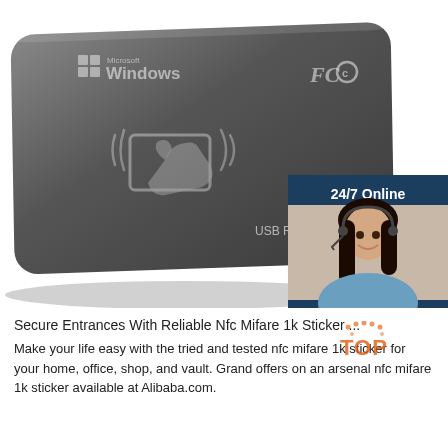[Figure (photo): A dark gray USB NFC/RFID card reader device with Microsoft Windows logo and FCC mark on the front. Features a card-and-hand icon in the center. Overlaid in the lower-right corner is an advertisement panel showing a customer service representative with a headset, text '24/7 Online', 'Click here for free chat!', and an orange 'QUOTATION' button.]
Secure Entrances With Reliable Nfc Mifare 1k Sticker ...
Make your life easy with the tried and tested nfc mifare 1k sticker for your home, office, shop, and vault. Grand offers on an arsenal nfc mifare 1k sticker available at Alibaba.com.